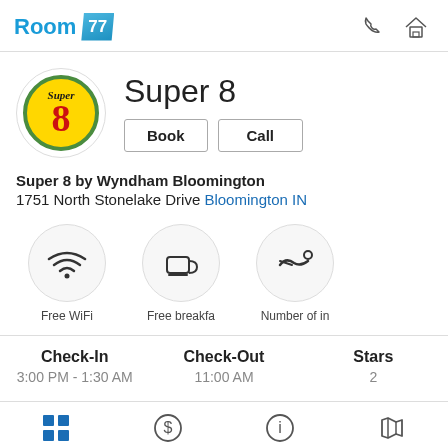Room 77
[Figure (logo): Super 8 hotel logo - yellow sign with red number 8]
Super 8
Book | Call
Super 8 by Wyndham Bloomington
1751 North Stonelake Drive Bloomington IN
[Figure (infographic): Three amenity icons: Free WiFi, Free breakfast, Number of indoor pools]
| Check-In | Check-Out | Stars |
| --- | --- | --- |
| 3:00 PM - 1:30 AM | 11:00 AM | 2 |
[Figure (infographic): Bottom navigation icons: grid, dollar sign, info, map]